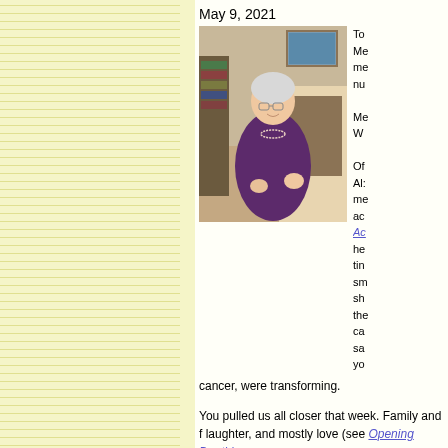May 9, 2021
[Figure (photo): Elderly woman with white hair and glasses, wearing a dark purple cardigan and pearl necklace, seated and smiling, with a fireplace and bookshelves in background]
To Me me nu Me W Of Al: me ac Ac he tin sm sh the ca sa yo cancer, were transforming.
You pulled us all closer that week. Family and f laughter, and mostly love (see Opening Death's
Thanks, Mom. I just wanted to say hi and I wish written more, too, but the cards and letters ove